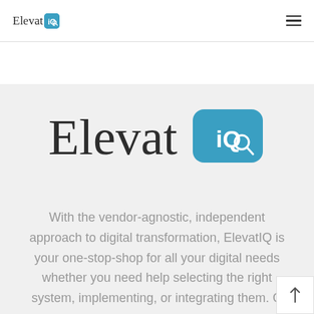ElevatIQ
[Figure (logo): ElevatIQ logo — text 'Elevat' in dark serif followed by 'iQ' in white on a rounded blue square badge — large centered version]
With the vendor-agnostic, independent approach to digital transformation, ElevatIQ is your one-stop-shop for all your digital needs whether you need help selecting the right system, implementing, or integrating them. O